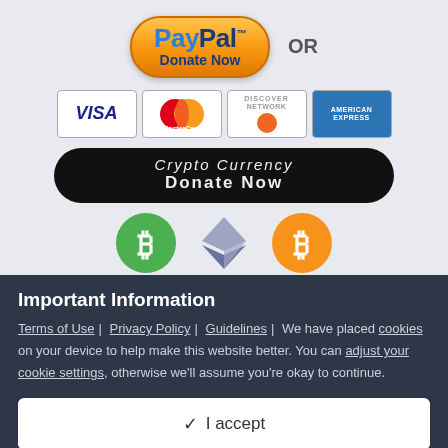[Figure (logo): PayPal Donate Now button with orange gradient rounded rectangle styling]
[Figure (logo): Payment card logos: VISA, MasterCard, Discover, American Express]
[Figure (logo): Crypto Currency Donate Now button with black background and rounded styling, showing Bitcoin Cash (green), Ethereum, and Bitcoin (orange) icons]
Your help is greatly appreciated. This site is run by volunteers. All donations go toward the expenses for running
Important Information
Terms of Use | Privacy Policy | Guidelines | We have placed cookies on your device to help make this website better. You can adjust your cookie settings, otherwise we'll assume you're okay to continue.
I accept